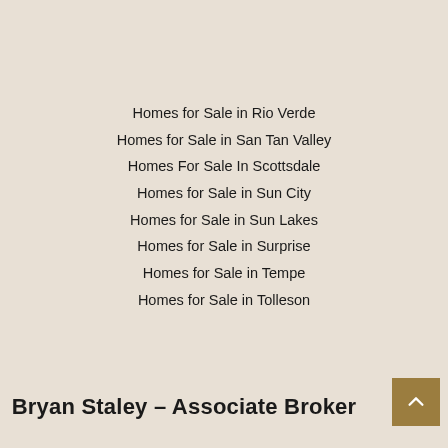Homes for Sale in Rio Verde
Homes for Sale in San Tan Valley
Homes For Sale In Scottsdale
Homes for Sale in Sun City
Homes for Sale in Sun Lakes
Homes for Sale in Surprise
Homes for Sale in Tempe
Homes for Sale in Tolleson
Bryan Staley – Associate Broker